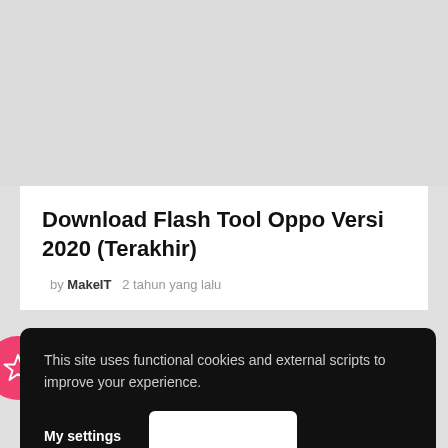[Figure (other): Gray placeholder image area at top of page]
Download Flash Tool Oppo Versi 2020 (Terakhir)
by MakeIT  2 tahun yang lalu
[Figure (logo): Pink circular badge with white star outline icon]
This site uses functional cookies and external scripts to improve your experience.
My settings